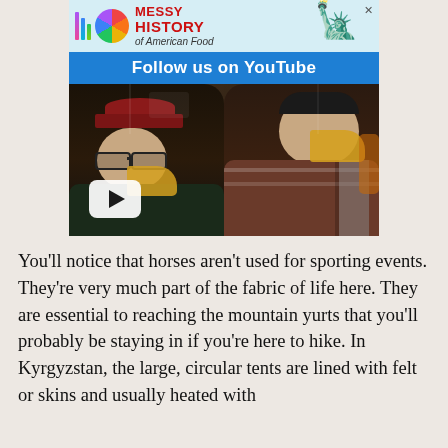[Figure (screenshot): Advertisement banner for 'Messy History of American Food' YouTube channel. Shows colorful logo with vertical bars and circle, red bold title text, Statue of Liberty graphic, blue 'Follow us on YouTube' bar, and a video thumbnail of two people eating pizza with a YouTube play button.]
You'll notice that horses aren't used for sporting events. They're very much part of the fabric of life here. They are essential to reaching the mountain yurts that you'll probably be staying in if you're here to hike. In Kyrgyzstan, the large, circular tents are lined with felt or skins and usually heated with